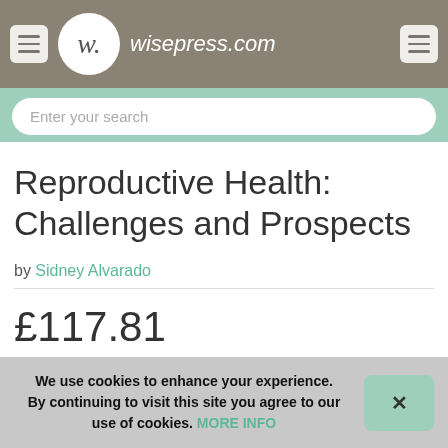wisepress.com
Enter your search
Reproductive Health: Challenges and Prospects
by Sidney Alvarado
£117.81
(To see other currencies, click on price)
We use cookies to enhance your experience. By continuing to visit this site you agree to our use of cookies. MORE INFO